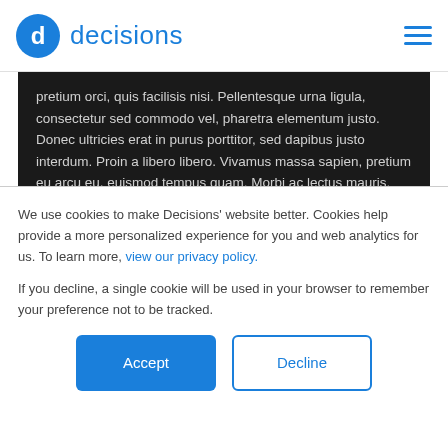decisions
[Figure (screenshot): Dark background text panel showing Lorem Ipsum-style Latin placeholder text: pretium orci, quis facilisis nisi. Pellentesque urna ligula, consectetur sed commodo vel, pharetra elementum justo. Donec ultricies erat in purus porttitor, sed dapibus justo interdum. Proin a libero libero. Vivamus massa sapien, pretium eu arcu eu, euismod tempus quam. Morbi ac lectus mauris. Aliquam sit amet hendrerit enim. Fusce lobortis aliquam tortor in porta. Cras enim quam, consequat quis mollis at, ornare et metus. Duis facilisis risus eget felis convallis, in accumsan...]
We use cookies to make Decisions' website better. Cookies help provide a more personalized experience for you and web analytics for us. To learn more, view our privacy policy.
If you decline, a single cookie will be used in your browser to remember your preference not to be tracked.